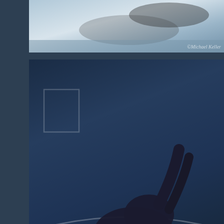[Figure (photo): Top partial photo of a martial arts match, cropped, with watermark ©Michael Keller]
[Figure (photo): Photo of two martial arts competitors on a blue mat, one in white gi lying on back, one in dark gi on top, with watermark ©Michael Keller]
WVGO EBI Rules Submission Only Gi & No Gi T
Date: Saturday, September 16, 2017
Time:  Adult Tournament 12pm, Referee Meeting at 10am, Competi 10:30am. Kids will start at 10am